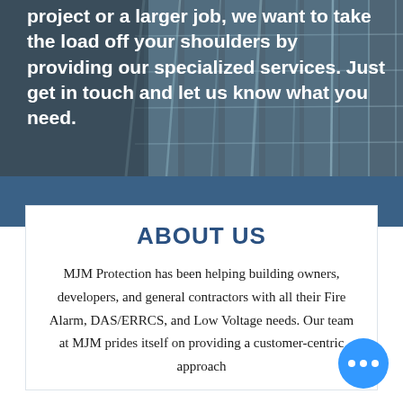[Figure (photo): Background photo of a modern glass building facade with steel framework, used as backdrop for white bold text overlay]
project or a larger job, we want to take the load off your shoulders by providing our specialized services. Just get in touch and let us know what you need.
ABOUT US
MJM Protection has been helping building owners, developers, and general contractors with all their Fire Alarm, DAS/ERRCS, and Low Voltage needs. Our team at MJM prides itself on providing a customer-centric approach